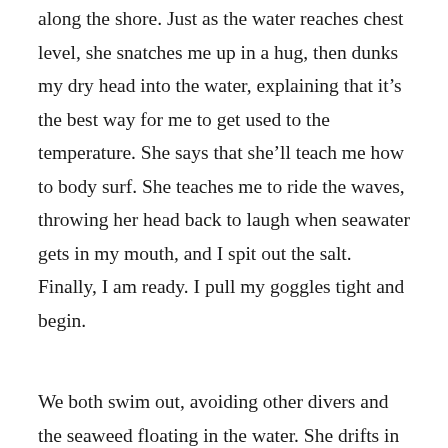along the shore. Just as the water reaches chest level, she snatches me up in a hug, then dunks my dry head into the water, explaining that it's the best way for me to get used to the temperature. She says that she'll teach me how to body surf. She teaches me to ride the waves, throwing her head back to laugh when seawater gets in my mouth, and I spit out the salt. Finally, I am ready. I pull my goggles tight and begin.
We both swim out, avoiding other divers and the seaweed floating in the water. She drifts in and out of my vision. After going out just a little too far for my liking, we meet up at what seems like miles from any sign of civilization. I bob up and down, barely keeping